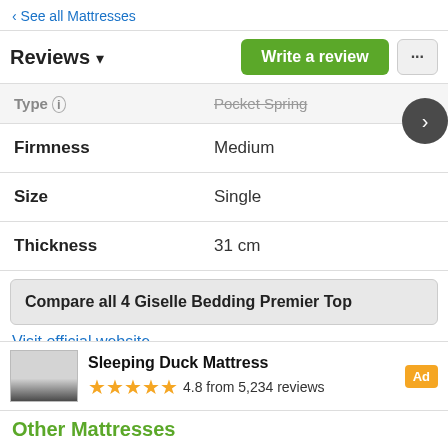< See all Mattresses
Reviews ▾
| Property | Value |
| --- | --- |
| Type | Pocket Spring |
| Firmness | Medium |
| Size | Single |
| Thickness | 31 cm |
Compare all 4 Giselle Bedding Premier Top
Visit official website
GTIN13: 9350062116579, 9350062184639 and 9350062194508
Sleeping Duck Mattress – Ad – 4.8 from 5,234 reviews
Other Mattresses